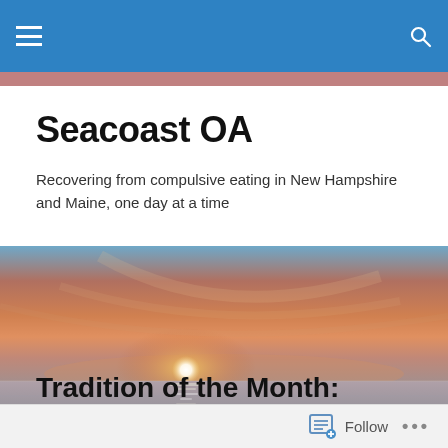Seacoast OA navigation bar
Seacoast OA
Recovering from compulsive eating in New Hampshire and Maine, one day at a time
[Figure (photo): Ocean sunset photo showing sun low on the horizon over calm water with colorful orange and pink sky]
Tradition of the Month: Dissenting opinions
Follow